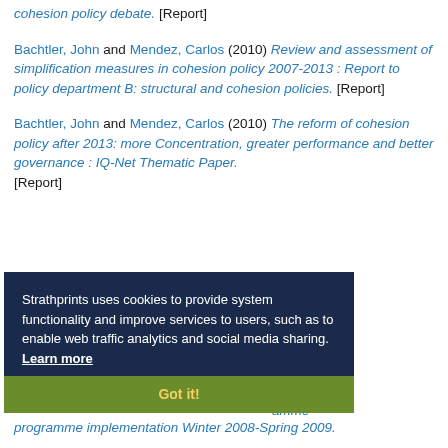cohesion policy debate. [Report]
Bachtler, John and Mendez, Carlos (2010) Review and assessment of simplification measures in cohesion policy 2007-2013 : Report to policy department B: structural and cohesion policies. [Report]
Bachtler, John and Mendez, Carlos (2010) The reform of cohesion policy after 2013: more Concentration, greater performance and better governance : IQ-Net Thematic Paper. [Report]
[Figure (screenshot): Cookie consent overlay on dark navy background with text: 'Strathprints uses cookies to provide system functionality and improve services to users, such as to enable web traffic analytics and social media sharing. Learn more' and a green 'Got it!' button.]
...amme ...review of programme implementation Winter 2008-Spring 2009.